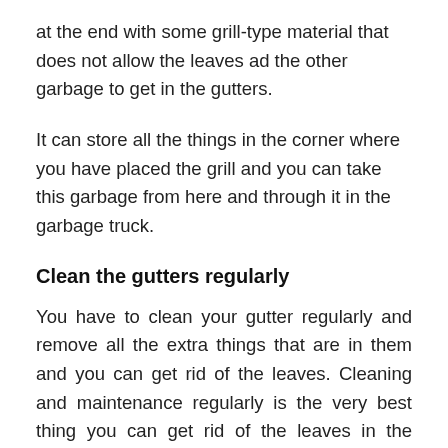at the end with some grill-type material that does not allow the leaves ad the other garbage to get in the gutters.
It can store all the things in the corner where you have placed the grill and you can take this garbage from here and through it in the garbage truck.
Clean the gutters regularly
You have to clean your gutter regularly and remove all the extra things that are in them and you can get rid of the leaves. Cleaning and maintenance regularly is the very best thing you can get rid of the leaves in the gutters also by